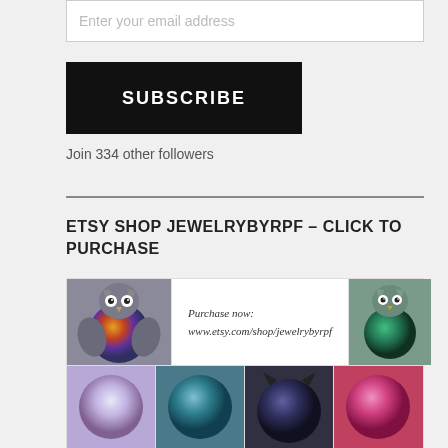Enter your email address
SUBSCRIBE
Join 334 other followers
ETSY SHOP JEWELRYBYRPF – CLICK TO PURCHASE
[Figure (photo): Grid of jewelry photos showing owl pendants and round glitter pendants from Etsy shop jewelrybyrpf. Top row: rainbow glitter owl pendant on left, center text 'Purchase now: www.etsy.com/shop/jewelrybyrpf', green glitter owl pendant on right. Bottom row: four round glitter pendants in purple/silver, teal, cat-shaped dark, and pink.]